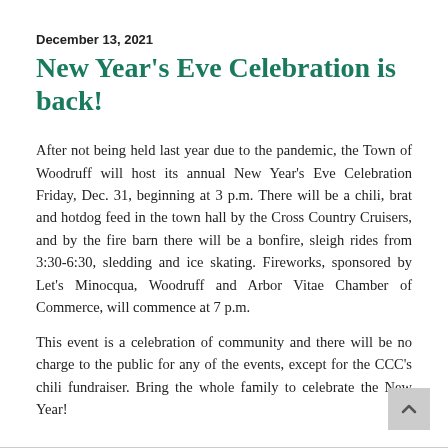December 13, 2021
New Year's Eve Celebration is back!
After not being held last year due to the pandemic, the Town of Woodruff will host its annual New Year's Eve Celebration Friday, Dec. 31, beginning at 3 p.m. There will be a chili, brat and hotdog feed in the town hall by the Cross Country Cruisers, and by the fire barn there will be a bonfire, sleigh rides from 3:30-6:30, sledding and ice skating. Fireworks, sponsored by Let's Minocqua, Woodruff and Arbor Vitae Chamber of Commerce, will commence at 7 p.m.
This event is a celebration of community and there will be no charge to the public for any of the events, except for the CCC's chili fundraiser. Bring the whole family to celebrate the New Year!